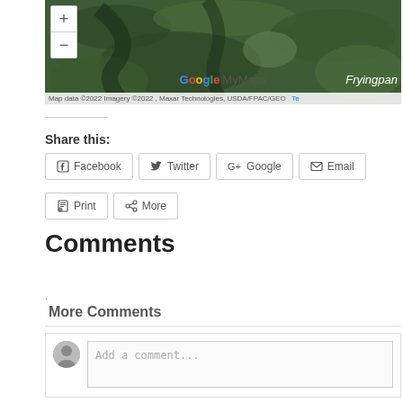[Figure (map): Google My Maps satellite view showing Fryingpan area with zoom controls, Google MyMaps logo, and map attribution: Map data ©2022 Imagery ©2022, Maxar Technologies, USDA/FPAC/GEO]
Share this:
Facebook  Twitter  Google  Email  Print  More
Comments
.
More Comments
Add a comment...